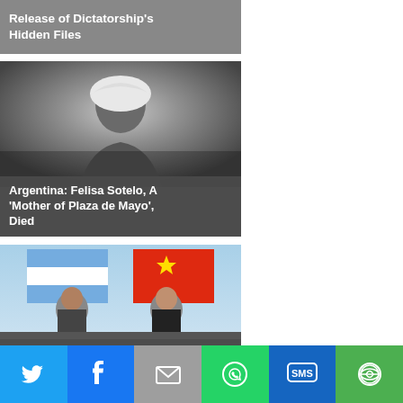Release of Dictatorship's Hidden Files
[Figure (photo): Black and white photo of Felisa Sotelo, a woman wearing a white headscarf, looking to the side]
Argentina: Felisa Sotelo, A 'Mother of Plaza de Mayo', Died
[Figure (photo): Color photo of two politicians in front of Argentine and Chinese flags — Alberto Fernandez and Xi Jinping]
China and Argentina To